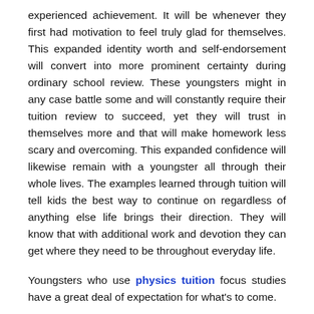experienced achievement. It will be whenever they first had motivation to feel truly glad for themselves. This expanded identity worth and self-endorsement will convert into more prominent certainty during ordinary school review. These youngsters might in any case battle some and will constantly require their tuition review to succeed, yet they will trust in themselves more and that will make homework less scary and overcoming. This expanded confidence will likewise remain with a youngster all through their whole lives. The examples learned through tuition will tell kids the best way to continue on regardless of anything else life brings their direction. They will know that with additional work and devotion they can get where they need to be throughout everyday life.
Youngsters who use physics tuition focus studies have a great deal of expectation for what's to come.